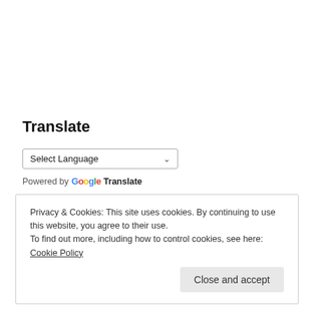Translate
Select Language
Powered by Google Translate
Privacy & Cookies: This site uses cookies. By continuing to use this website, you agree to their use.
To find out more, including how to control cookies, see here: Cookie Policy
Close and accept